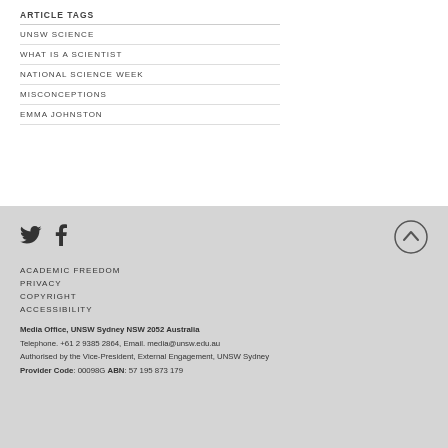ARTICLE TAGS
UNSW SCIENCE
WHAT IS A SCIENTIST
NATIONAL SCIENCE WEEK
MISCONCEPTIONS
EMMA JOHNSTON
[Figure (logo): Twitter bird icon]
[Figure (logo): Facebook f icon]
[Figure (other): Scroll to top arrow button circle]
ACADEMIC FREEDOM
PRIVACY
COPYRIGHT
ACCESSIBILITY
Media Office, UNSW Sydney NSW 2052 Australia
Telephone. +61 2 9385 2864, Email. media@unsw.edu.au
Authorised by the Vice-President, External Engagement, UNSW Sydney
Provider Code: 00098G ABN: 57 195 873 179